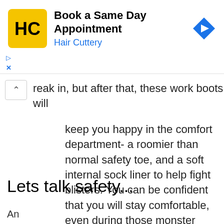[Figure (other): Hair Cuttery advertisement banner with logo, 'Book a Same Day Appointment' headline, 'Hair Cuttery' subtext in blue, and a blue diamond arrow icon on the right. Below the banner are small blue triangle play button and X close button.]
reak in, but after that, these work boots will keep you happy in the comfort department- a roomier than normal safety toe, and a soft internal sock liner to help fight blisters. You can be confident that you will stay comfortable, even during those monster shifts.
Lets talk safety...
An